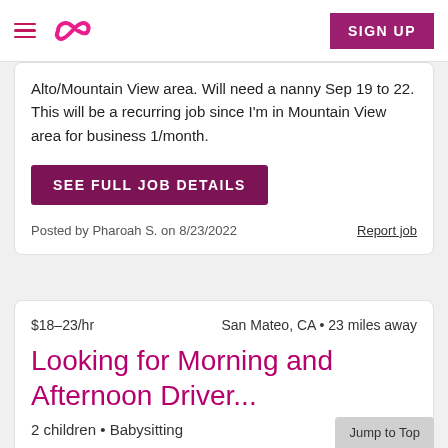Sittercity navigation bar with hamburger menu, logo, and SIGN UP button
Alto/Mountain View area. Will need a nanny Sep 19 to 22. This will be a recurring job since I'm in Mountain View area for business 1/month.
SEE FULL JOB DETAILS
Posted by Pharoah S. on 8/23/2022    Report job
$18–23/hr    San Mateo, CA • 23 miles away
Looking for Morning and Afternoon Driver...
2 children • Babysitting
Weekly
Jump to Top